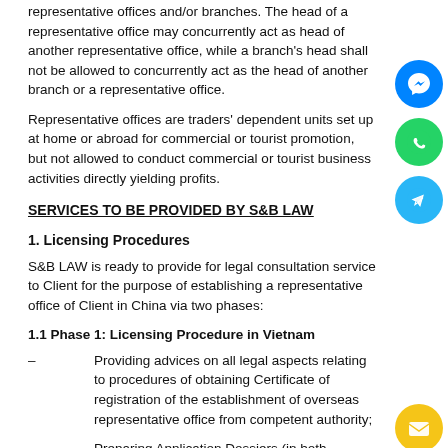representative offices and/or branches. The head of a representative office may concurrently act as head of another representative office, while a branch's head shall not be allowed to concurrently act as the head of another branch or a representative office.
Representative offices are traders' dependent units set up at home or abroad for commercial or tourist promotion, but not allowed to conduct commercial or tourist business activities directly yielding profits.
SERVICES TO BE PROVIDED BY S&B LAW
1. Licensing Procedures
S&B LAW is ready to provide for legal consultation service to Client for the purpose of establishing a representative office of Client in China via two phases:
1.1 Phase 1: Licensing Procedure in Vietnam
Providing advices on all legal aspects relating to procedures of obtaining Certificate of registration of the establishment of overseas representative office from competent authority;
Preparing Application Dossiers (in both Vietnamese and English) for obtaining Certificate of registration of the establishment